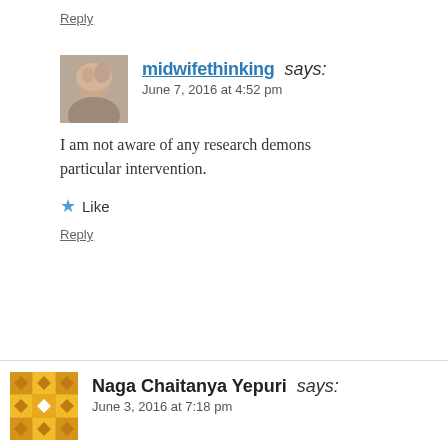Reply
midwifethinking says:
June 7, 2016 at 4:52 pm
I am not aware of any research demons... particular intervention.
Like
Reply
Naga Chaitanya Yepuri says:
June 3, 2016 at 7:18 pm
Hi,
Thank you for sharing this article. Im 34 weeks was diagnosed with oligo with AFI 7.2 during 32 suggested Astymin intravenously and advised w